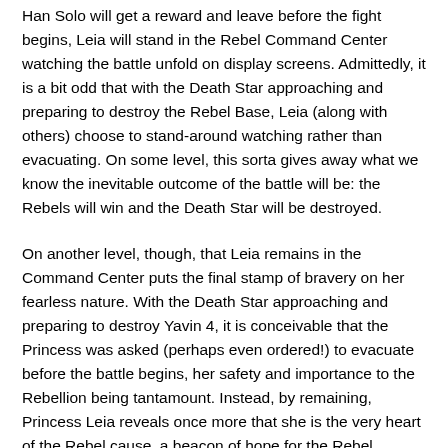Han Solo will get a reward and leave before the fight begins, Leia will stand in the Rebel Command Center watching the battle unfold on display screens. Admittedly, it is a bit odd that with the Death Star approaching and preparing to destroy the Rebel Base, Leia (along with others) choose to stand-around watching rather than evacuating. On some level, this sorta gives away what we know the inevitable outcome of the battle will be: the Rebels will win and the Death Star will be destroyed.
On another level, though, that Leia remains in the Command Center puts the final stamp of bravery on her fearless nature. With the Death Star approaching and preparing to destroy Yavin 4, it is conceivable that the Princess was asked (perhaps even ordered!) to evacuate before the battle begins, her safety and importance to the Rebellion being tantamount. Instead, by remaining, Princess Leia reveals once more that she is the very heart of the Rebel cause, a beacon of hope for the Rebel soldiers fighting the Imperial war machine. She may not be in an X-Wing or Y-Wing fighting the battle, nor giving orders as a General, but Leia's stoic presence in the face of imminent death